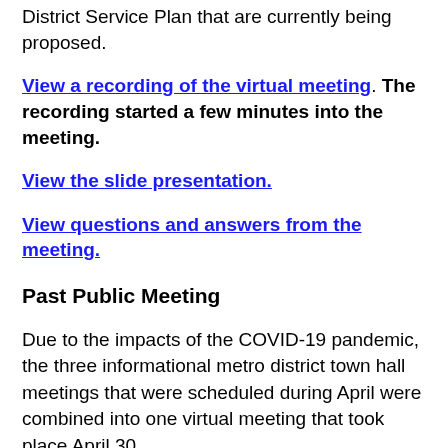District Service Plan that are currently being proposed.
View a recording of the virtual meeting. The recording started a few minutes into the meeting.
View the slide presentation.
View questions and answers from the meeting.
Past Public Meeting
Due to the impacts of the COVID-19 pandemic, the three informational metro district town hall meetings that were scheduled during April were combined into one virtual meeting that took place April 30.
View the slide presentation from the April 30